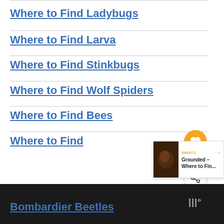Where to Find Ladybugs
Where to Find Larva
Where to Find Stinkbugs
Where to Find Wolf Spiders
Where to Find Bees
Where to Find Bombardier Beetles